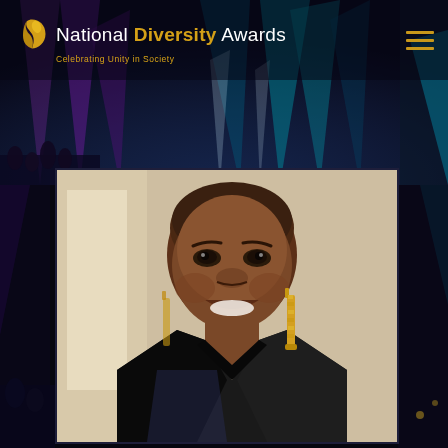[Figure (photo): Dark background with colorful light beams (purple, teal, white) emanating from a stage or venue, with crowd visible at the bottom left. This is the hero/banner background of the National Diversity Awards website.]
National Diversity Awards – Celebrating Unity in Society
[Figure (logo): National Diversity Awards logo: a golden crescent/swirl icon above the text 'National Diversity Awards' (Diversity in gold/yellow, rest in white) with tagline 'Celebrating Unity in Society' in gold below.]
[Figure (photo): Portrait photo of a Black woman with a shaved head, wearing gold dangling earrings and a black sequined/satin jacket, smiling at the camera. The background is a light beige/neutral tone. The photo is framed in a dark border box.]